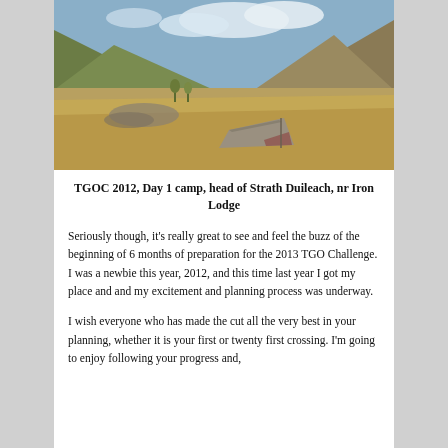[Figure (photo): A camping scene in a highland valley. A tarp-style tent is pitched on brown grassy ground. Mountains rise steeply on both sides with some green vegetation. Cloudy blue sky above.]
TGOC 2012, Day 1 camp, head of Strath Duileach, nr Iron Lodge
Seriously though, it's really great to see and feel the buzz of the beginning of 6 months of preparation for the 2013 TGO Challenge. I was a newbie this year, 2012, and this time last year I got my place and and my excitement and planning process was underway.
I wish everyone who has made the cut all the very best in your planning, whether it is your first or twenty first crossing. I'm going to enjoy following your progress and,